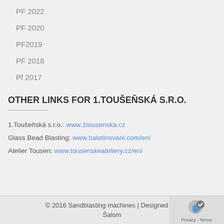PF 2022
PF 2020
PF2019
PF 2018
Pf 2017
OTHER LINKS FOR 1.TOUŠEŇSKÁ S.R.O.
1.Toušeňská s.r.o.: www.1tousenska.cz
Glass Bead Blasting: www.balotinovani.com/en/
Atelier Tousen: www.tousenskeateliery.cz/en/
© 2016 Sandblasting machines | Designed by: Šalom